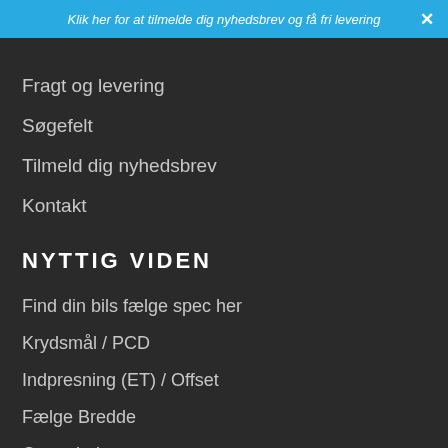Klik her for at tilmelde dig nyhedsbrev og få fri levering
Fragt og levering
Søgefelt
Tilmeld dig nyhedsbrev
Kontakt
NYTTIG VIDEN
Find din bils fælge spec her
Krydsmål / PCD
Indpresning (ET) / Offset
Fælge Bredde
Centerhul